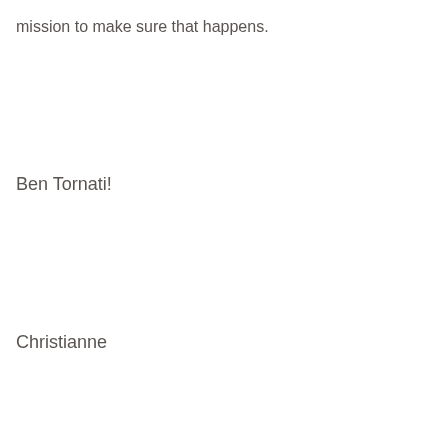mission to make sure that happens.
Ben Tornati!
Christianne